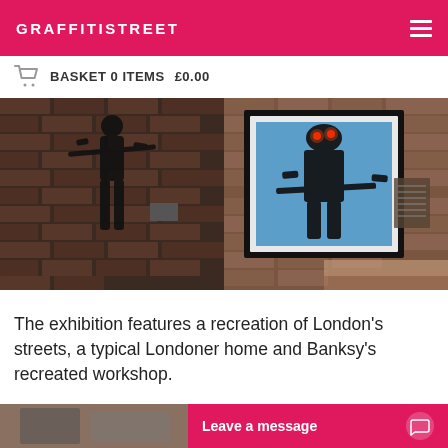GRAFFITISTREET
BASKET 0 ITEMS   £0.00
[Figure (photo): Two photos side by side: left shows a dark silhouette figure holding a rifle against a brick wall; right shows a framed artwork on a brick wall featuring a soldier figure with red glowing eyes holding a weapon, on a blue background]
The exhibition features a recreation of London’s streets, a typical Londoner home and Banksy’s recreated workshop.
Leave a message